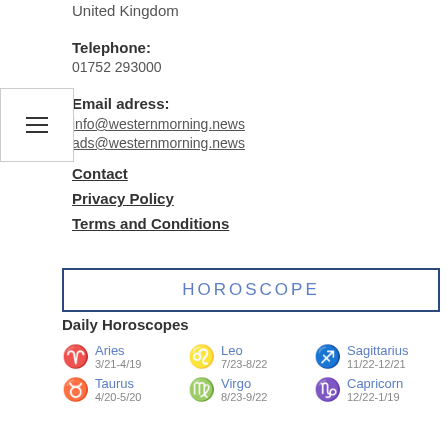United Kingdom
Telephone:
01752 293000
Email adress:
info@westernmorning.news
ads@westernmorning.news
Contact
Privacy Policy
Terms and Conditions
HOROSCOPE
Daily Horoscopes
Aries 3/21-4/19
Leo 7/23-8/22
Sagittarius 11/22-12/21
Taurus 4/20-5/20
Virgo 8/23-9/22
Capricorn 12/22-1/19